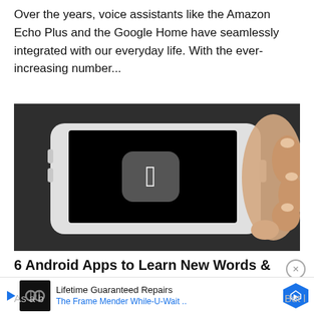Over the years, voice assistants like the Amazon Echo Plus and the Google Home have seamlessly integrated with our everyday life. With the ever-increasing number...
[Figure (photo): A hand holding a Samsung smartphone horizontally with a black screen displaying the Apple logo (white apple icon on a dark rounded-square background), photographed against a dark grey background.]
6 Android Apps to Learn New Words & Improve Vocabulary
As a b...
But l...